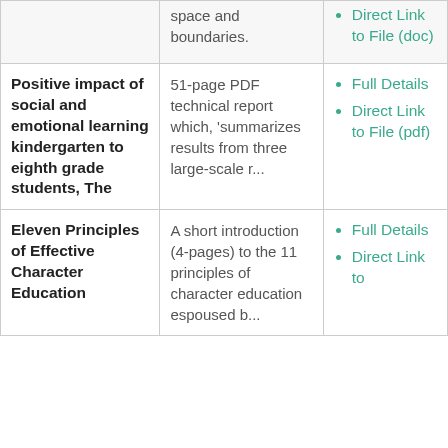| Title | Description | Links |
| --- | --- | --- |
|  | space and boundaries. | Direct Link to File (doc) |
| Positive impact of social and emotional learning kindergarten to eighth grade students, The | 51-page PDF technical report which, 'summarizes results from three large-scale r... | Full Details
Direct Link to File (pdf) |
| Eleven Principles of Effective Character Education | A short introduction (4-pages) to the 11 principles of character education espoused b... | Full Details
Direct Link to |